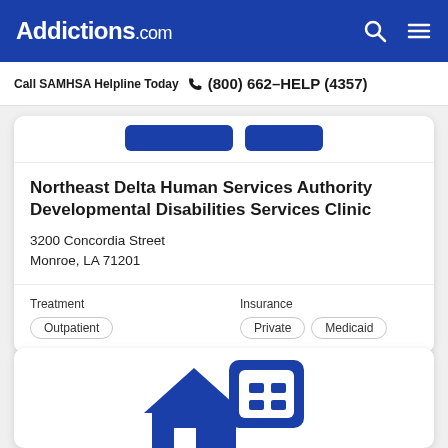Addictions.com
Call SAMHSA Helpline Today  (800) 662-HELP (4357)
Northeast Delta Human Services Authority Developmental Disabilities Services Clinic
3200 Concordia Street
Monroe, LA 71201
Treatment
Outpatient
Insurance
Private  Medicaid
[Figure (logo): Addictions.com building/clinic icon in blue, partially visible at bottom of page]